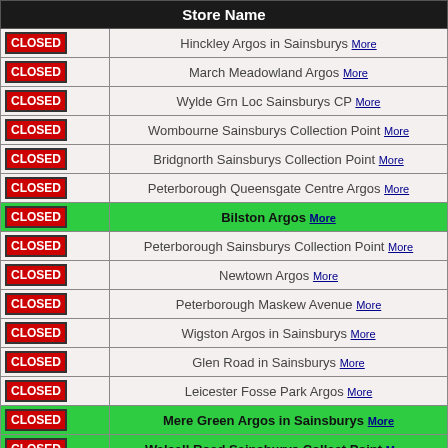|  | Store Name |
| --- | --- |
| CLOSED | Hinckley Argos in Sainsburys More |
| CLOSED | March Meadowland Argos More |
| CLOSED | Wylde Grn Loc Sainsburys CP More |
| CLOSED | Wombourne Sainsburys Collection Point More |
| CLOSED | Bridgnorth Sainsburys Collection Point More |
| CLOSED | Peterborough Queensgate Centre Argos More |
| CLOSED | Bilston Argos More |
| CLOSED | Peterborough Sainsburys Collection Point More |
| CLOSED | Newtown Argos More |
| CLOSED | Peterborough Maskew Avenue More |
| CLOSED | Wigston Argos in Sainsburys More |
| CLOSED | Glen Road in Sainsburys More |
| CLOSED | Leicester Fosse Park Argos More |
| CLOSED | Mere Green Argos in Sainsburys More |
| CLOSED | Walsall Road Sainsburys Collect Point More |
| CLOSED | Walsall Crown Wharf Argos and EE More |
| CLOSED | Wolverhampton St Marks in Sainsburys More |
| CLOSED | Wolverhampton Bentley Bridge Argos More |
| CLOSED | Wolverhampton Interchange Sainsburys CP More |
| CLOSED | Compton Road Sainsburys Local Collect More |
| CLOSED | Great Yarmouth Retail Park Argos More |
| CLOSED | Bridgnorth Road Sainsburys Collect More |